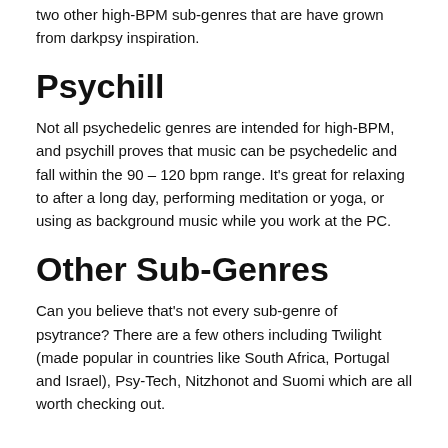two other high-BPM sub-genres that are have grown from darkpsy inspiration.
Psychill
Not all psychedelic genres are intended for high-BPM, and psychill proves that music can be psychedelic and fall within the 90 – 120 bpm range. It's great for relaxing to after a long day, performing meditation or yoga, or using as background music while you work at the PC.
Other Sub-Genres
Can you believe that's not every sub-genre of psytrance? There are a few others including Twilight (made popular in countries like South Africa, Portugal and Israel), Psy-Tech, Nitzhonot and Suomi which are all worth checking out.